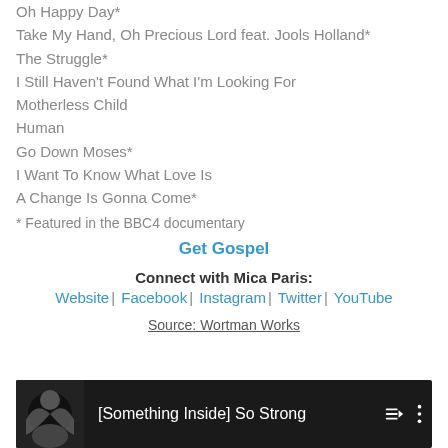Oh Happy Day*
Take My Hand, Oh Precious Lord feat. Jools Holland*
The Struggle*
I Still Haven't Found What I'm Looking For
Motherless Child
Human
Go Down Moses*
I Want To Know What Love Is
A Change Is Gonna Come*
* Featured in the BBC4 documentary
Get Gospel
Connect with Mica Paris:
Website | Facebook | Instagram | Twitter | YouTube
Source: Wortman Works
[Figure (screenshot): YouTube video player showing '[Something Inside] So Strong' with playlist and options icons]